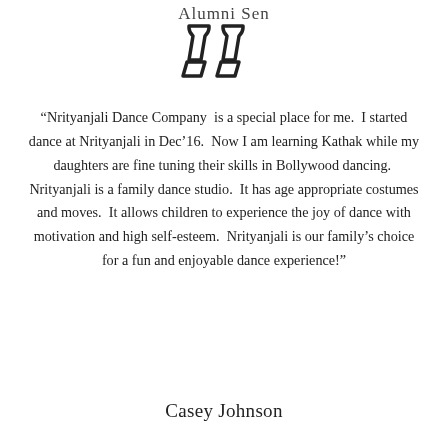Alumni Sen
[Figure (illustration): Large closing double quotation marks icon in bold outline style]
“Nrityanjali Dance Company  is a special place for me.  I started dance at Nrityanjali in Dec’16.  Now I am learning Kathak while my daughters are fine tuning their skills in Bollywood dancing.  Nrityanjali is a family dance studio.  It has age appropriate costumes and moves.  It allows children to experience the joy of dance with motivation and high self-esteem.  Nrityanjali is our family’s choice for a fun and enjoyable dance experience!”
Casey Johnson